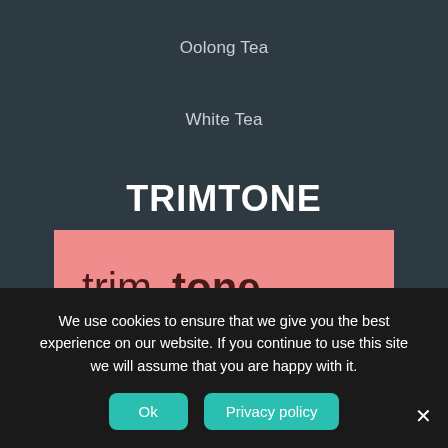Oolong Tea
White Tea
TRIMTONE
[Figure (photo): Trimtone product advertisement showing a smiling woman, a trimtone product box, and text reading '100% NATURAL FAT BURNER FORMULATED SPECIFICALLY' on a pink background]
We use cookies to ensure that we give you the best experience on our website. If you continue to use this site we will assume that you are happy with it.